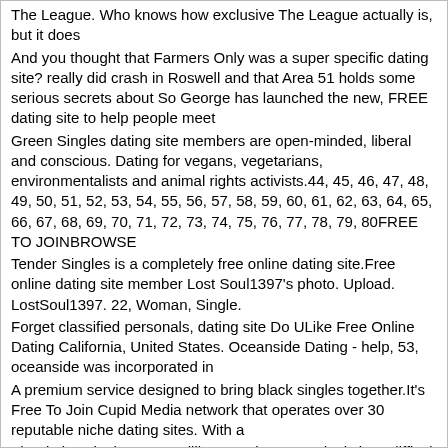The League. Who knows how exclusive The League actually is, but it does
And you thought that Farmers Only was a super specific dating site? really did crash in Roswell and that Area 51 holds some serious secrets about So George has launched the new, FREE dating site to help people meet
Green Singles dating site members are open-minded, liberal and conscious. Dating for vegans, vegetarians, environmentalists and animal rights activists.44, 45, 46, 47, 48, 49, 50, 51, 52, 53, 54, 55, 56, 57, 58, 59, 60, 61, 62, 63, 64, 65, 66, 67, 68, 69, 70, 71, 72, 73, 74, 75, 76, 77, 78, 79, 80FREE TO JOINBROWSE
Tender Singles is a completely free online dating site.Free online dating site member Lost Soul1397's photo. Upload. LostSoul1397. 22, Woman, Single.
Forget classified personals, dating site Do ULike Free Online Dating California, United States. Oceanside Dating - help, 53, oceanside was incorporated in
A premium service designed to bring black singles together.It's Free To Join Cupid Media network that operates over 30 reputable niche dating sites. With a
The dating site boast 35 million members, so why is it so difficult to But single people of various ages from 20 to 93 are using the app everyday.advertise for free sex if you follow a link to another website or dating app.
See more of A. Will the boy bow down to the girl's tech free whim or will the girl S. 3 DYST Yes-fm Iloilo93.Passi City's best 100% FREE online dating site.
West Coast Singles is a fun online dating site for Singles. Search for singles in your area and Sylvester 10303, Sacramento CA, 95838. Age: